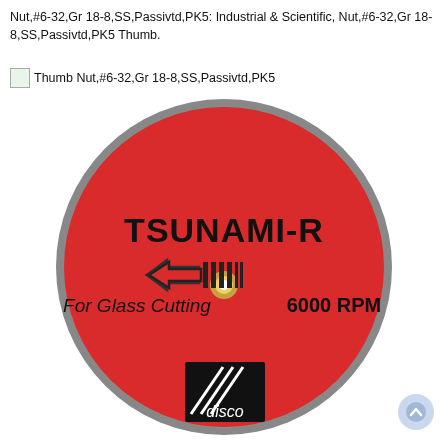Nut,#6-32,Gr 18-8,SS,Passivtd,PK5: Industrial & Scientific, Nut,#6-32,Gr 18-8,SS,Passivtd,PK5 Thumb.
Thumb Nut,#6-32,Gr 18-8,SS,Passivtd,PK5
[Figure (photo): Red circular diamond blade disc labeled TSUNAMI-R for glass cutting at 6000 RPM, with DISCO logo, center arbor hole, and arrow/segment symbol. The disc has a gray outer rim and a center golden ring around the arbor hole.]